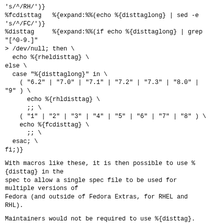's/^/RH/')}\n%fcdisttag   %{expand:%%( echo %{disttaglong} | sed -e\n's/^/FC/')}\n%disttag     %{expand:%%(if echo %{disttaglong} | grep\n"[^0-9.]"\n> /dev/null; then \\\n  echo %{rheldisttag} \\\nelse \\\n  case "%{disttaglong}" in \\\n    ( "6.2" | "7.0" | "7.1" | "7.2" | "7.3" | "8.0" |\n"9" ) \\\n      echo %{rhldisttag} \\\n      ;; \\\n    ( "1" | "2" | "3" | "4" | "5" | "6" | "7" | "8" ) \\\n    echo %{fcdisttag} \\\n      ;; \\\n  esac; \\\nfi;)}
With macros like these, it is then possible to use %{disttag} in the spec to allow a single spec file to be used for multiple versions of Fedora (and outside of Fedora Extras, for RHEL and RHL).
Maintainers would not be required to use %{disttag}. However, should they choose to do so, it should be placed at the end of the release